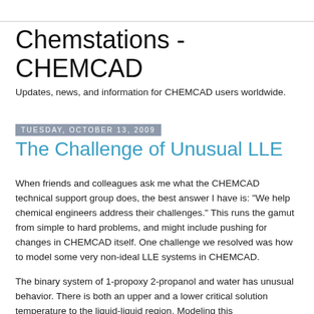Chemstations - CHEMCAD
Updates, news, and information for CHEMCAD users worldwide.
Tuesday, October 13, 2009
The Challenge of Unusual LLE
When friends and colleagues ask me what the CHEMCAD technical support group does, the best answer I have is: "We help chemical engineers address their challenges." This runs the gamut from simple to hard problems, and might include pushing for changes in CHEMCAD itself. One challenge we resolved was how to model some very non-ideal LLE systems in CHEMCAD.
The binary system of 1-propoxy 2-propanol and water has unusual behavior. There is both an upper and a lower critical solution temperature to the liquid-liquid region. Modeling this